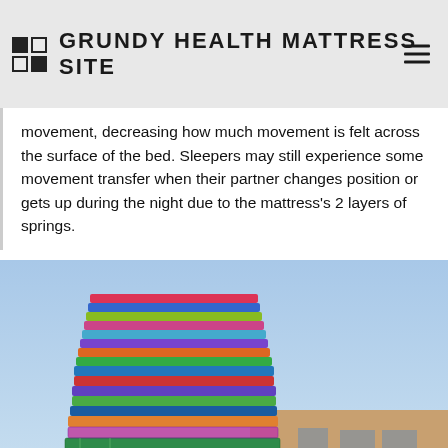GRUNDY HEALTH MATTRESS SITE
movement, decreasing how much movement is felt across the surface of the bed. Sleepers may still experience some movement transfer when their partner changes position or gets up during the night due to the mattress's 2 layers of springs.
[Figure (photo): A pickup truck loaded with a very tall stack of colorful mattresses in various patterns (green, blue, pink, striped), parked in front of a building, photographed outdoors under a blue sky.]